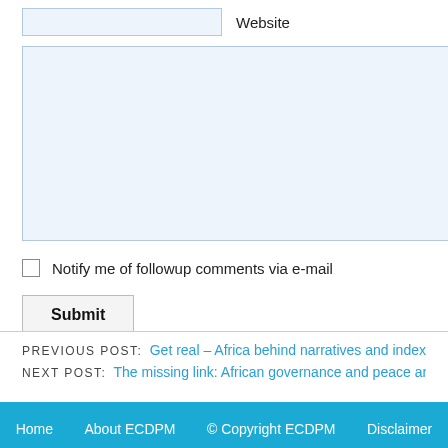Website
Notify me of followup comments via e-mail
Submit
PREVIOUS POST: Get real – Africa behind narratives and index scores
NEXT POST: The missing link: African governance and peace architecture
Home   About ECDPM   © Copyright ECDPM   Disclaimer